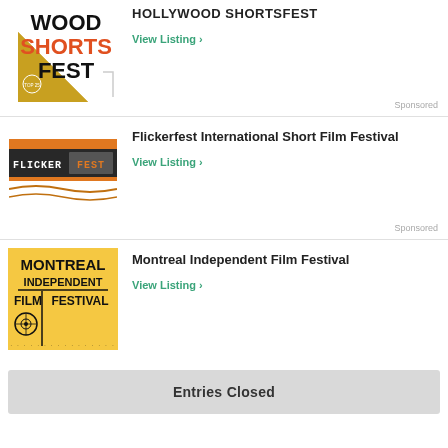[Figure (logo): Hollywood Shortsfest logo with gold triangle and WOOD SHORTS FEST text in black/red]
HOLLYWOOD SHORTSFEST
View Listing ›
Sponsored
[Figure (logo): Flickerfest logo with orange/dark horizontal band and FLICKERFEST text]
Flickerfest International Short Film Festival
View Listing ›
Sponsored
[Figure (logo): Montreal Independent Film Festival logo on yellow/gold background with bold black text]
Montreal Independent Film Festival
View Listing ›
Entries Closed